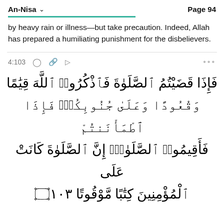An-Nisa  Page 94
by heavy rain or illness—but take precaution. Indeed, Allah has prepared a humiliating punishment for the disbelievers.
4:103
[Figure (other): Arabic Quran verse 4:103 in large Arabic script, reading: فَإِذَا قَضَيْتُمُ ٱلصَّلَوٰةَ فَٱذْكُرُوا۟ ٱللَّهَ قِيَٰمًا وَقُعُودًا وَعَلَىٰ جُنُوبِكُمْۚ فَإِذَا ٱطْمَأْنَنتُمْ فَأَقِيمُوا۟ ٱلصَّلَوٰةَۚ إِنَّ ٱلصَّلَوٰةَ كَانَتْ عَلَى ٱلْمُؤْمِنِينَ كِتَٰبًا مَّوْقُوتًا ١٠٣]